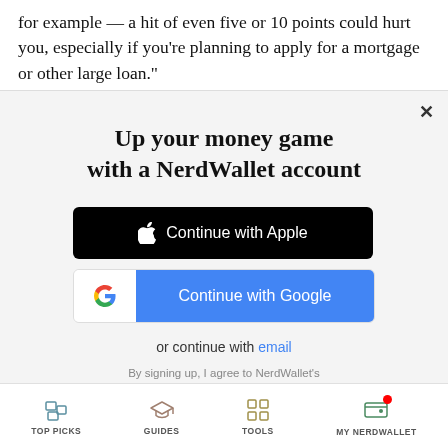for example — a hit of even five or 10 points could hurt you, especially if you're planning to apply for a mortgage or other large loan."
Up your money game with a NerdWallet account
[Figure (screenshot): Continue with Apple button (black), Continue with Google button (blue with Google G icon), or continue with email link, and terms of service text]
or continue with email
By signing up, I agree to NerdWallet's Terms of Service and Privacy Policy.
TOP PICKS   GUIDES   TOOLS   MY NERDWALLET